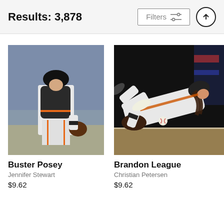Results: 3,878
[Figure (photo): Baseball catcher Buster Posey in San Francisco Giants black and orange uniform standing in catcher's gear on the field]
Buster Posey
Jennifer Stewart
$9.62
[Figure (photo): Baseball player Brandon League in San Francisco Giants white uniform diving to field a ground ball]
Brandon League
Christian Petersen
$9.62